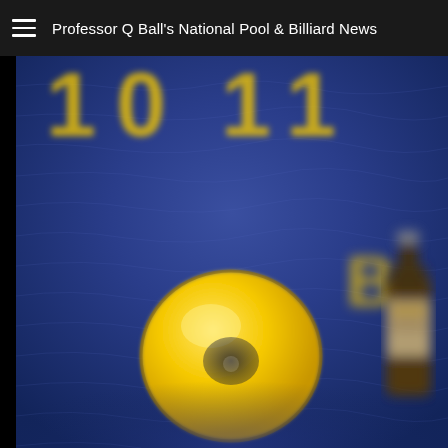Professor Q Ball's National Pool & Billiard News
[Figure (photo): A blurred/cropped photograph showing a pool/billiard themed artwork or poster with a deep blue background, large yellow numbers '10 11' at the top, a large yellow circle (billiard ball) in the lower center, and partial view of what appears to be a beer bottle at the right side. The overall style is painterly and dark blue.]